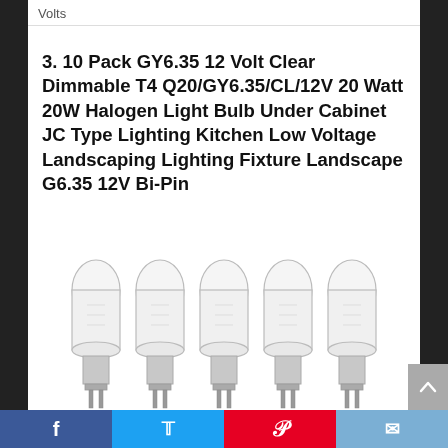Volts
3. 10 Pack GY6.35 12 Volt Clear Dimmable T4 Q20/GY6.35/CL/12V 20 Watt 20W Halogen Light Bulb Under Cabinet JC Type Lighting Kitchen Low Voltage Landscaping Lighting Fixture Landscape G6.35 12V Bi-Pin
[Figure (photo): Five clear halogen bi-pin light bulbs (GY6.35 type) arranged side by side, photographed against a white background.]
Facebook | Twitter | Pinterest | Email